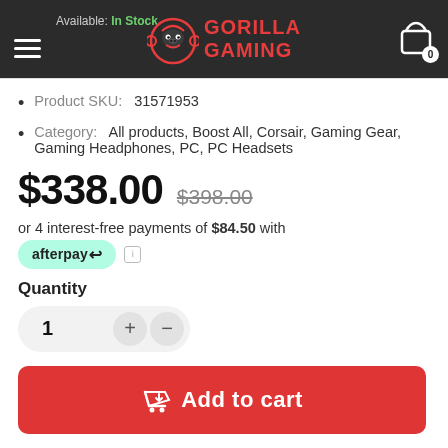Gorilla Gaming — Available: In Stock
Product SKU:   31571953
Category:   All products, Boost All, Corsair, Gaming Gear, Gaming Headphones, PC, PC Headsets
$338.00  $398.00
or 4 interest-free payments of $84.50 with afterpay
Quantity
1
Add to cart